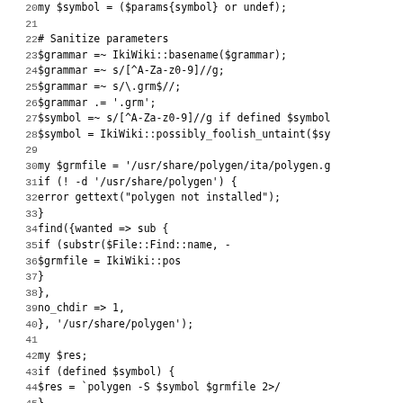[Figure (screenshot): Source code listing in monospace font showing Perl code lines 20-51, with line numbers on the left and code content on the right. Lines include variable assignments, parameter sanitization, file finding logic, and command execution.]